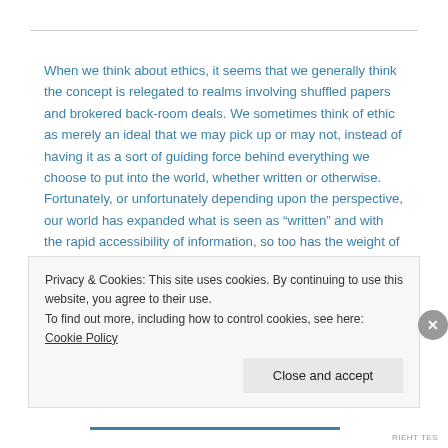When we think about ethics, it seems that we generally think the concept is relegated to realms involving shuffled papers and brokered back-room deals. We sometimes think of ethic as merely an ideal that we may pick up or may not, instead of having it as a sort of guiding force behind everything we choose to put into the world, whether written or otherwise. Fortunately, or unfortunately depending upon the perspective, our world has expanded what is seen as “written” and with the rapid accessibility of information, so too has the weight of what it means to be ethical. As our rhetorical stages have expanded into the digital, it is imperative that our ethicality be reflective of rhetoricians who seek truth at all costs. Truth, and I believe there is such a thing, must be preeminent.
Privacy & Cookies: This site uses cookies. By continuing to use this website, you agree to their use.
To find out more, including how to control cookies, see here: Cookie Policy